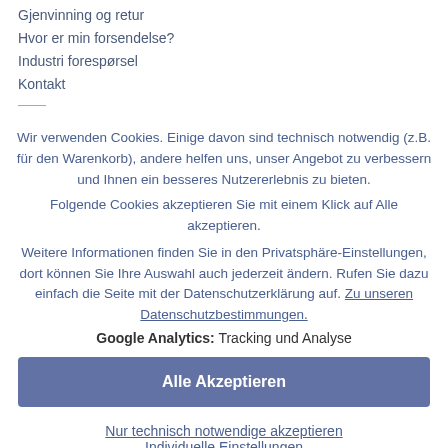Gjenvinning og retur
Hvor er min forsendelse?
Industri forespørsel
Kontakt
Wir verwenden Cookies. Einige davon sind technisch notwendig (z.B. für den Warenkorb), andere helfen uns, unser Angebot zu verbessern und Ihnen ein besseres Nutzererlebnis zu bieten.
Folgende Cookies akzeptieren Sie mit einem Klick auf Alle akzeptieren.
Weitere Informationen finden Sie in den Privatsphäre-Einstellungen, dort können Sie Ihre Auswahl auch jederzeit ändern. Rufen Sie dazu einfach die Seite mit der Datenschutzerklärung auf. Zu unseren Datenschutzbestimmungen.
Google Analytics: Tracking und Analyse
Alle Akzeptieren
Nur technisch notwendige akzeptieren
Individuelle Einstellungen